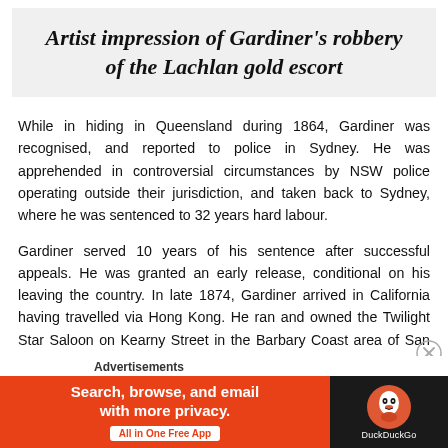Artist impression of Gardiner's robbery of the Lachlan gold escort
While in hiding in Queensland during 1864, Gardiner was recognised, and reported to police in Sydney. He was apprehended in controversial circumstances by NSW police operating outside their jurisdiction, and taken back to Sydney, where he was sentenced to 32 years hard labour.
Gardiner served 10 years of his sentence after successful appeals. He was granted an early release, conditional on his leaving the country. In late 1874, Gardiner arrived in California having travelled via Hong Kong. He ran and owned the Twilight Star Saloon on Kearny Street in the Barbary Coast area of San Francisco for the remainder of his life.
Advertisements
[Figure (infographic): DuckDuckGo advertisement banner: orange background with text 'Search, browse, and email with more privacy. All in One Free App' on the left and DuckDuckGo logo on dark background on the right.]